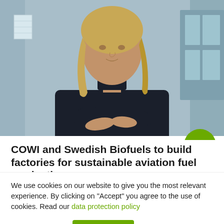[Figure (photo): Woman with blonde hair wearing a black turtleneck sweater, arms crossed, standing in front of a building with glass windows and a blue wall. A green circular arrow button overlays the bottom-right corner.]
COWI and Swedish Biofuels to build factories for sustainable aviation fuel production
Swedish Biofuels and COWI have partnered
We use cookies on our website to give you the most relevant experience. By clicking on "Accept" you agree to the use of cookies. Read our data protection policy
Cookie settings
Acceptera